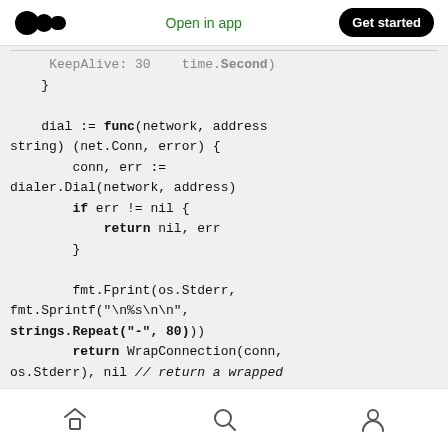Open in app   Get started
KeepAlive: 30 * time.Second)
    }

    dial := func(network, address string) (net.Conn, error) {
        conn, err :=
dialer.Dial(network, address)
        if err != nil {
            return nil, err
        }

        fmt.Fprint(os.Stderr,
fmt.Sprintf("\n%s\n\n",
strings.Repeat("-", 80)))
        return WrapConnection(conn,
os.Stderr), nil // return a wrapped
net.Conn
    }
Home  Search  Profile